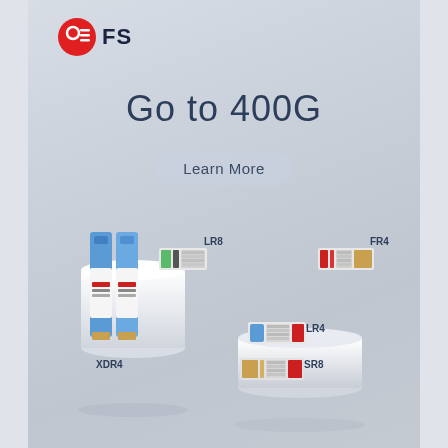[Figure (logo): FS company logo with red circle and white lines icon, followed by 'FS' text in dark navy]
Go to 400G
Learn More
[Figure (photo): Product showcase of 400G optical transceivers on white pedestals against gradient gray background. Labels: LR8, FR4, LR4, SR8, XDR4 modules shown as physical transceiver hardware]